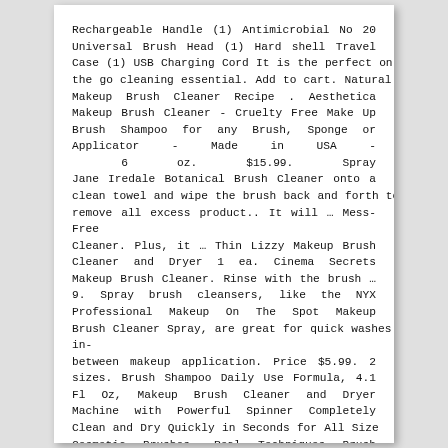Rechargeable Handle (1) Antimicrobial No 20 Universal Brush Head (1) Hard shell Travel Case (1) USB Charging Cord It is the perfect on the go cleaning essential. Add to cart. Natural Makeup Brush Cleaner Recipe . Aesthetica Makeup Brush Cleaner - Cruelty Free Make Up Brush Shampoo for any Brush, Sponge or Applicator - Made in USA - 6 oz. $15.99. Spray Jane Iredale Botanical Brush Cleaner onto a clean towel and wipe the brush back and forth to remove all excess product.. It will … Mess-Free Cleaner. Plus, it … Thin Lizzy Makeup Brush Cleaner and Dryer 1 ea. Cinema Secrets Makeup Brush Cleaner. Rinse with the brush … 9. Spray brush cleansers, like the NYX Professional Makeup On The Spot Makeup Brush Cleaner Spray, are great for quick washes in-between makeup application. Price $5.99. 2 sizes. Brush Shampoo Daily Use Formula, 4.1 Fl Oz, Makeup Brush Cleaner and Dryer Machine with Powerful Spinner Completely Clean and Dry Quickly in Seconds for All Size Cosmetic Brushes, Real Techniques Brush Cleaning Only 51 Ounce/Packaging May...